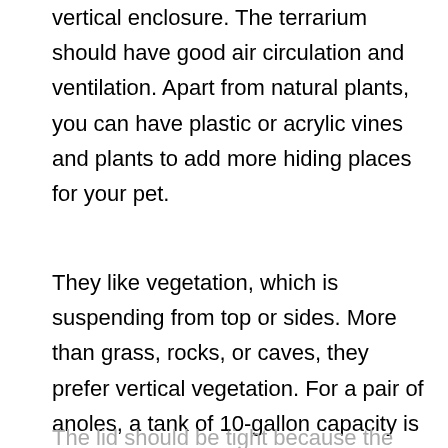vertical enclosure. The terrarium should have good air circulation and ventilation. Apart from natural plants, you can have plastic or acrylic vines and plants to add more hiding places for your pet.
They like vegetation, which is suspending from top or sides. More than grass, rocks, or caves, they prefer vertical vegetation. For a pair of anoles, a tank of 10-gallon capacity is more than enough.
The lid should be tight because the anoles can...